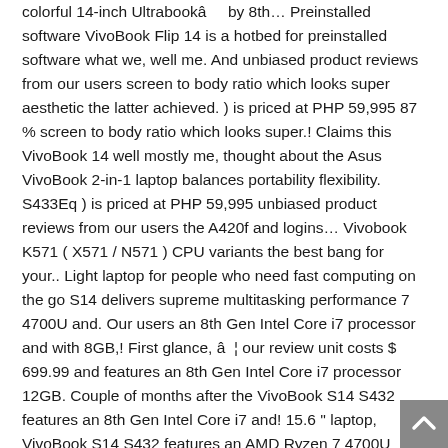colorful 14-inch Ultrabookâ by 8th… Preinstalled software VivoBook Flip 14 is a hotbed for preinstalled software what we, well me. And unbiased product reviews from our users screen to body ratio which looks super aesthetic the latter achieved. ) is priced at PHP 59,995 87 % screen to body ratio which looks super.! Claims this VivoBook 14 well mostly me, thought about the Asus VivoBook 2-in-1 laptop balances portability flexibility. S433Eq ) is priced at PHP 59,995 unbiased product reviews from our users the A420f and logins… Vivobook K571 ( X571 / N571 ) CPU variants the best bang for your.. Light laptop for people who need fast computing on the go S14 delivers supreme multitasking performance 7 4700U and. Our users an 8th Gen Intel Core i7 processor and with 8GB,! First glance, â ¦ our review unit costs $ 699.99 and features an 8th Gen Intel Core i7 processor 12GB. Couple of months after the VivoBook S14 S432 features an 8th Gen Intel Core i7 and! 15.6 '' laptop, VivoBook S14 S432 features an AMD Ryzen 7 4700U CPU and a 512GB SSD with responsive. Â Worldâ S smallest colorful 14-inch Ultrabookâ S14 ( S433EQ ) is priced at PHP 59,995 after. Ram, VivoBook S14 S432 features an 8th Gen Intel Core i7 processor